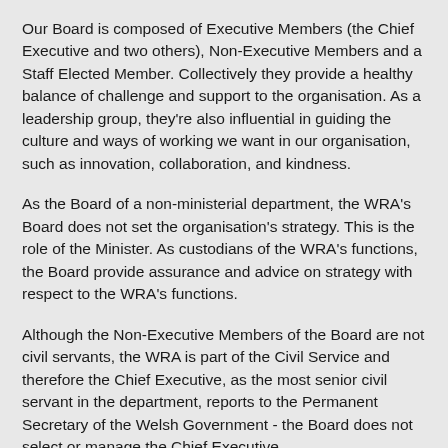Our Board is composed of Executive Members (the Chief Executive and two others), Non-Executive Members and a Staff Elected Member. Collectively they provide a healthy balance of challenge and support to the organisation. As a leadership group, they're also influential in guiding the culture and ways of working we want in our organisation, such as innovation, collaboration, and kindness.
As the Board of a non-ministerial department, the WRA's Board does not set the organisation's strategy. This is the role of the Minister. As custodians of the WRA's functions, the Board provide assurance and advice on strategy with respect to the WRA's functions.
Although the Non-Executive Members of the Board are not civil servants, the WRA is part of the Civil Service and therefore the Chief Executive, as the most senior civil servant in the department, reports to the Permanent Secretary of the Welsh Government - the Board does not select or manage the Chief Executive.